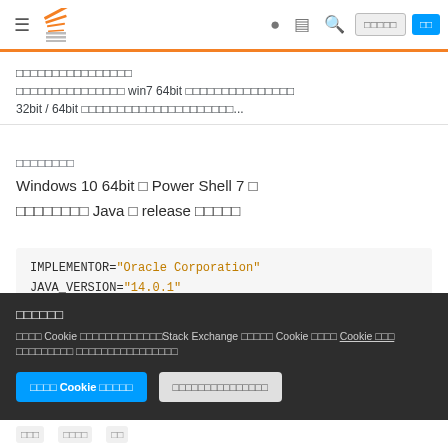Stack Overflow navigation bar with hamburger menu, logo, help, chat, search icons, login and signup buttons
□□□□□□□□□□□□□□□□
□□□□□□□□□□□□□□□ win7 64bit □□□□□□□□□□□□□□□
32bit / 64bit □□□□□□□□□□□□□□□□□□□□□...
□□□□□□□□
Windows 10 64bit □ Power Shell 7 □
□□□□□□□□ Java □ release □□□□□
IMPLEMENTOR="Oracle Corporation"
JAVA_VERSION="14.0.1"
ADDITIONAL_DATE="2020.1.1+1"
Cookie □□□□□□
□□□□ Cookie □□□□□□□□□□□□□Stack Exchange □□□□□ Cookie □□□□ Cookie □□□ □□□□□□□□□ □□□□□□□□□□□□□□□□
□□□□ Cookie □□□□□
□□□□□□□□□□□□□□□